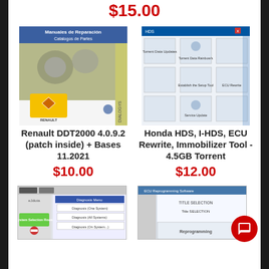$15.00
[Figure (screenshot): Renault DDT2000 Manuales de Reparacion Catalogos de Partes software cover]
[Figure (screenshot): Honda HDS diagnostic software interface screenshot]
Renault DDT2000 4.0.9.2 (patch inside) + Bases 11.2021
$10.00
Honda HDS, I-HDS, ECU Rewrite, Immobilizer Tool - 4.5GB Torrent
$12.00
[Figure (screenshot): Automotive diagnostic software screenshot bottom left]
[Figure (screenshot): Automotive ECU reprogramming software screenshot bottom right]